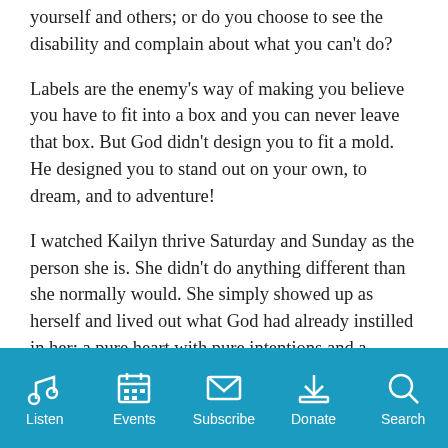yourself and others; or do you choose to see the disability and complain about what you can't do?
Labels are the enemy's way of making you believe you have to fit into a box and you can never leave that box. But God didn't design you to fit a mold. He designed you to stand out on your own, to dream, and to adventure!
I watched Kailyn thrive Saturday and Sunday as the person she is. She didn't do anything different than she normally would. She simply showed up as herself and lived out what God had already instilled in her: a pure heart with pure intentions and a loving, encouraging and energetic personality.
Listen  Events  Subscribe  Donate  Search